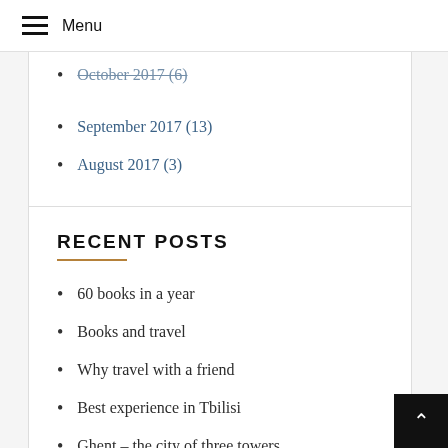Menu
October 2017 (6)
September 2017 (13)
August 2017 (3)
RECENT POSTS
60 books in a year
Books and travel
Why travel with a friend
Best experience in Tbilisi
Ghent – the city of three towers